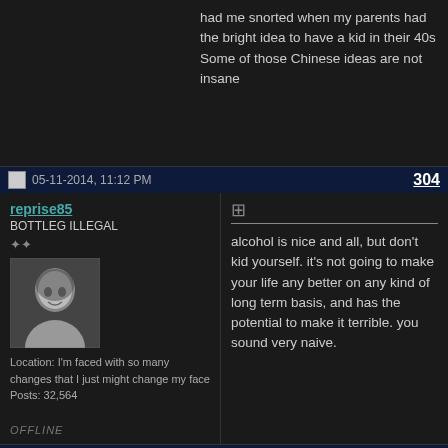had me snorted when my parents had the bright idea to have a kid in their 40s
Some of those Chinese ideas are not insane
05-11-2014, 11:12 PM   304
reprise85
BOTTLEG ILLEGAL
[Figure (photo): Black and white avatar photo of a man with dark hair]
Location: I'm faced with so many changes that I just might change my face
Posts: 32,564
alcohol is nice and all, but don't kid yourself. it's not going to make your life any better on any kind of long term basis, and has the potential to make it terrible. you sound very naive.
OFFLINE
05-11-2014, 11:12 PM   305
MusicMan4